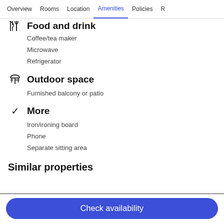Overview | Rooms | Location | Amenities | Policies | R
Food and drink
Coffee/tea maker
Microwave
Refrigerator
Outdoor space
Furnished balcony or patio
More
Iron/ironing board
Phone
Separate sitting area
Similar properties
Check availability